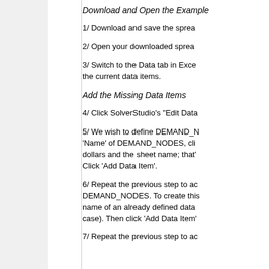Download and Open the Example
1/ Download and save the spread
2/ Open your downloaded spread
3/ Switch to the Data tab in Excel the current data items.
Add the Missing Data Items
4/ Click SolverStudio's "Edit Data
5/ We wish to define DEMAND_N 'Name' of DEMAND_NODES, cli dollars and the sheet name; that' Click 'Add Data Item'.
6/ Repeat the previous step to ac DEMAND_NODES. To create this name of an already defined data case). Then click 'Add Data Item'
7/ Repeat the previous step to ac